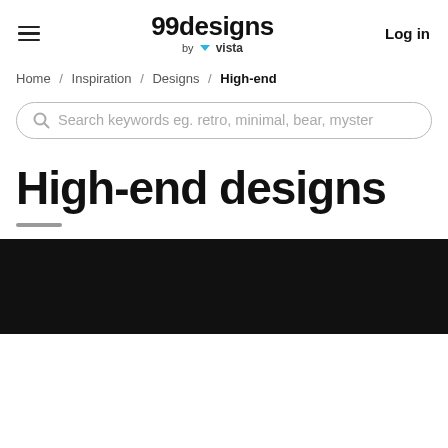99designs by vista | Log in
Home / Inspiration / Designs / High-end
Search keywords eg. retro, minimal, bear, myster
High-end designs
[Figure (photo): Black image block at the bottom of the page]